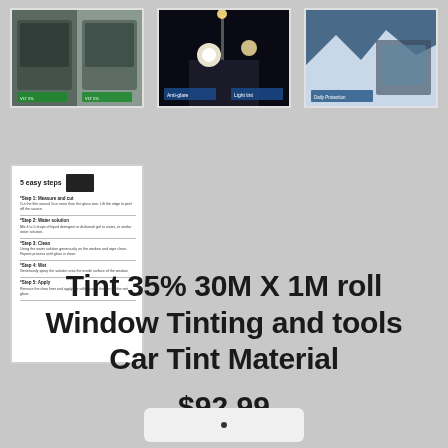[Figure (photo): Car window tinting product image showing tinted car windows with percentage labels]
[Figure (photo): Night driving scene showing vision through tinted windows, anti-glare demonstration]
[Figure (photo): Snowy/icy scene viewed through car window with tint film applied]
[Figure (photo): 5 easy steps instruction guide for applying window tint film]
Tint 35% 30M X 1M roll Window Tinting and tools Car Tint Material
$92.99